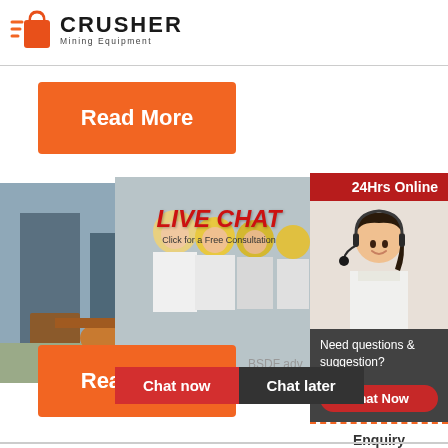[Figure (logo): Crusher Mining Equipment logo with orange shopping bag icon and bold CRUSHER text]
Read More
[Figure (infographic): Live chat popup overlay on industrial site photo showing workers in yellow hard hats, LIVE CHAT title in red italic, Click for a Free Consultation subtitle, Chat now (red) and Chat later (dark) buttons, close X button]
BSDF adv
[Figure (photo): Customer service representative woman with headset smiling, with 24Hrs Online red banner at top, Need questions & suggestion? text, Chat Now red oval button, Enquiry section, limingjlmofen@sina.com email]
Read More